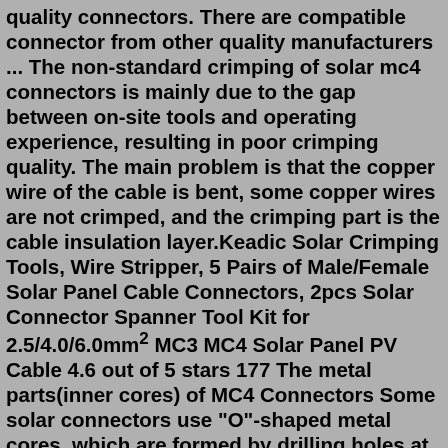quality connectors. There are compatible connector from other quality manufacturers ... The non-standard crimping of solar mc4 connectors is mainly due to the gap between on-site tools and operating experience, resulting in poor crimping quality. The main problem is that the copper wire of the cable is bent, some copper wires are not crimped, and the crimping part is the cable insulation layer.Keadic Solar Crimping Tools, Wire Stripper, 5 Pairs of Male/Female Solar Panel Cable Connectors, 2pcs Solar Connector Spanner Tool Kit for 2.5/4.0/6.0mm² MC3 MC4 Solar Panel PV Cable 4.6 out of 5 stars 177 The metal parts(inner cores) of MC4 Connectors Some solar connectors use "O"-shaped metal cores, which are formed by drilling holes at both ends of thin copper rods, which are also called machined metal cores. The "O"-shaped metal core can only be crimped individually, which is not suitable for use in automated equipment. HYOCIEMC4 connectors are single-contact electrical connectors commonly used for connecting solar panels The MC in MC4 stands